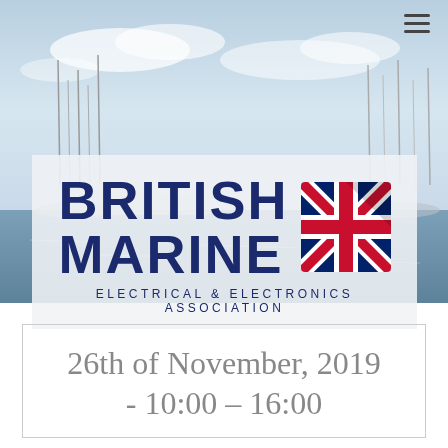[Figure (photo): Marina/harbour background photo with sailboats and sky]
[Figure (logo): British Marine Electrical & Electronics Association logo with Union Jack flag icon]
26th of November, 2019 - 10:00 – 16:00